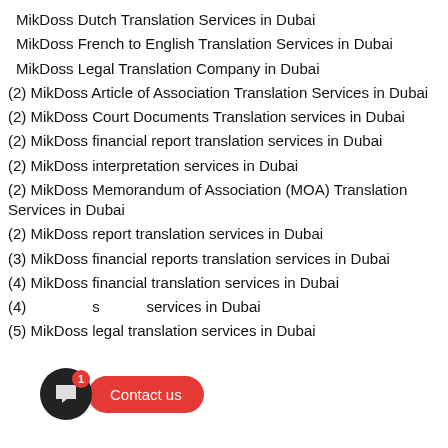MikDoss Dutch Translation Services in Dubai
MikDoss French to English Translation Services in Dubai
MikDoss Legal Translation Company in Dubai
(2) MikDoss Article of Association Translation Services in Dubai
(2) MikDoss Court Documents Translation services in Dubai
(2) MikDoss financial report translation services in Dubai
(2) MikDoss interpretation services in Dubai
(2) MikDoss Memorandum of Association (MOA) Translation Services in Dubai
(2) MikDoss report translation services in Dubai
(3) MikDoss financial reports translation services in Dubai
(4) MikDoss financial translation services in Dubai
(4) MikDoss ... services in Dubai
(5) MikDoss legal translation services in Dubai